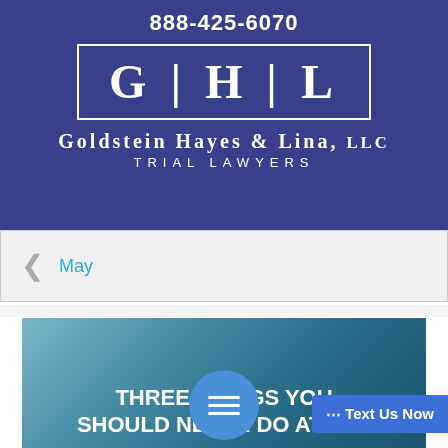888-425-6070
[Figure (logo): Goldstein Hayes & Lina LLC logo with GHL initials in a white bordered rectangle on dark blue background]
GOLDSTEIN HAYES & LINA, LLC
TRIAL LAWYERS
May
[Figure (photo): Article thumbnail with teal/blue water background and bold white text reading THREE THINGS YOU SHOULD NEVER DO AT TH... with chat and text-us overlay buttons]